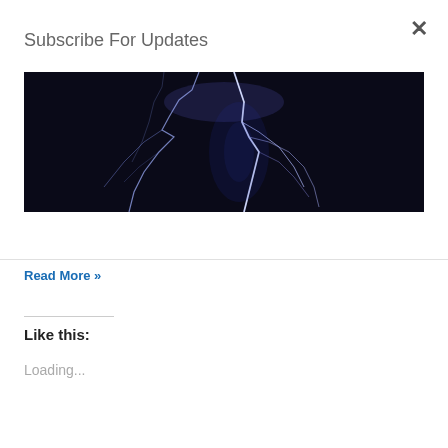Subscribe For Updates
Subscribe
Read More »
Like this:
Loading...
[Figure (photo): Lightning strike photograph against a dark night sky, showing branching lightning bolts with blue-white glow]